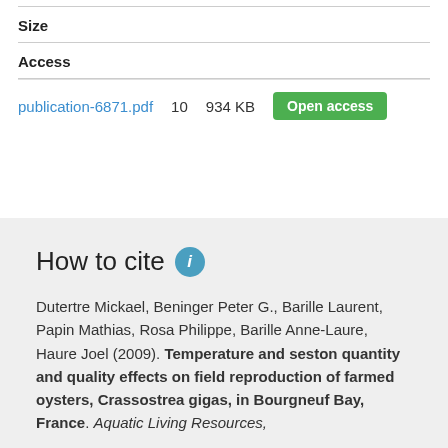Size
Access
publication-6871.pdf   10   934 KB   Open access
How to cite
Dutertre Mickael, Beninger Peter G., Barille Laurent, Papin Mathias, Rosa Philippe, Barille Anne-Laure, Haure Joel (2009). Temperature and seston quantity and quality effects on field reproduction of farmed oysters, Crassostrea gigas, in Bourgneuf Bay, France. Aquatic Living Resources,